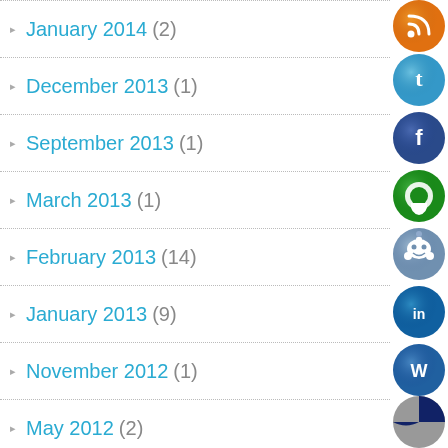January 2014 (2)
December 2013 (1)
September 2013 (1)
March 2013 (1)
February 2013 (14)
January 2013 (9)
November 2012 (1)
May 2012 (2)
April 2012 (2)